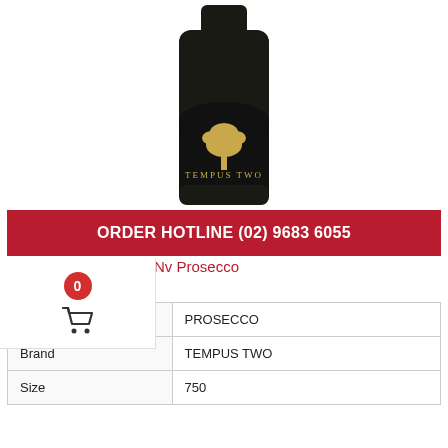[Figure (photo): Wine bottle of Tempus Two Prosecco with black label showing a gold tree logo and the text TEMPUS TWO PROSECCO]
ORDER HOTLINE (02) 9683 6055
Tempus Two Varietal Nv Prosecco
Product Details
| Varietal | PROSECCO |
| Brand | TEMPUS TWO |
| Size | 750 |